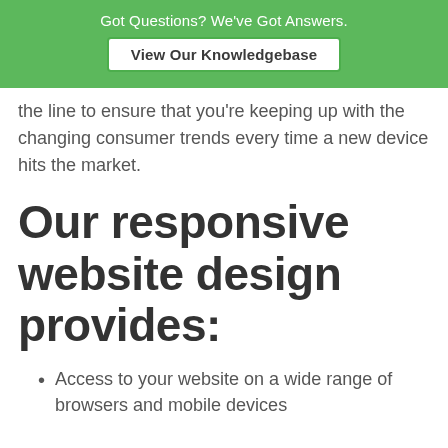Got Questions? We've Got Answers. View Our Knowledgebase
the line to ensure that you're keeping up with the changing consumer trends every time a new device hits the market.
Our responsive website design provides:
Access to your website on a wide range of browsers and mobile devices